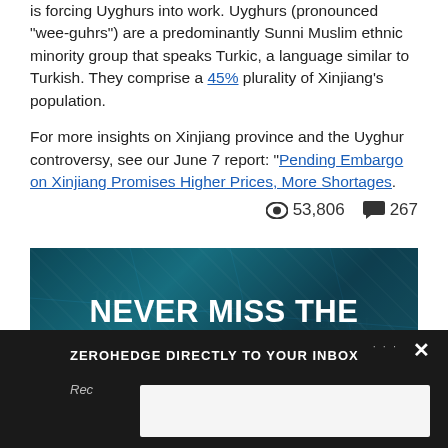is forcing Uyghurs into work. Uyghurs (pronounced "wee-guhrs") are a predominantly Sunni Muslim ethnic minority group that speaks Turkic, a language similar to Turkish. They comprise a 45% plurality of Xinjiang's population.
For more insights on Xinjiang province and the Uyghur controversy, see our June 7 report: "Pending Embargo on Xinjiang Promises Higher Prices, More Shortages.
53,806 views  267 comments
[Figure (infographic): Dark teal banner with bold white uppercase text reading NEVER MISS THE NEWS THAT MATTERS MOST over a money/currency background]
ZEROHEDGE DIRECTLY TO YOUR INBOX — popup with close button and subscription input area